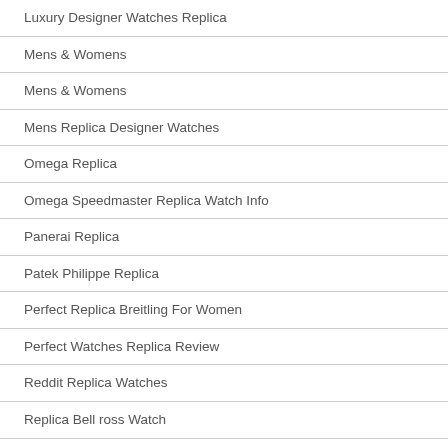Luxury Designer Watches Replica
Mens & Womens
Mens & Womens
Mens Replica Designer Watches
Omega Replica
Omega Speedmaster Replica Watch Info
Panerai Replica
Patek Philippe Replica
Perfect Replica Breitling For Women
Perfect Watches Replica Review
Reddit Replica Watches
Replica Bell ross Watch
Replica Bracelet Audemars Piguet
Replica Watch Paypal